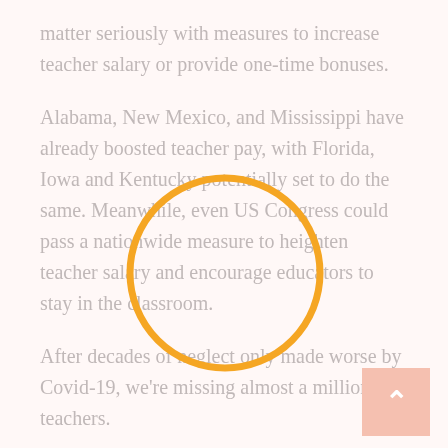matter seriously with measures to increase teacher salary or provide one-time bonuses.
Alabama, New Mexico, and Mississippi have already boosted teacher pay, with Florida, Iowa and Kentucky potentially set to do the same. Meanwhile, even US Congress could pass a nationwide measure to heighten teacher salary and encourage educators to stay in the classroom.
[Figure (illustration): Orange circle outline overlaid on text paragraph]
After decades of neglect only made worse by Covid-19, we're missing almost a million teachers.
And we only have about 3.2 million teachers nationwide!
According to the Bureau of Labor Statistics, there are 567,000 fewer educators in our public schools today